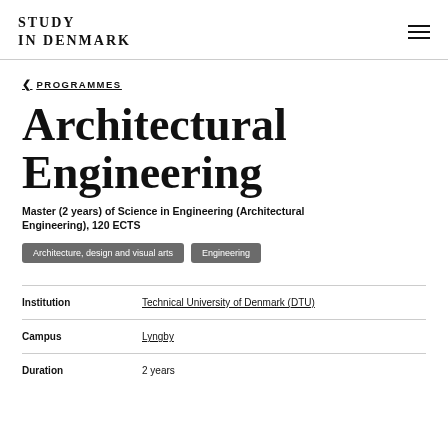STUDY IN DENMARK
< PROGRAMMES
Architectural Engineering
Master (2 years) of Science in Engineering (Architectural Engineering), 120 ECTS
Architecture, design and visual arts | Engineering
| Field | Value |
| --- | --- |
| Institution | Technical University of Denmark (DTU) |
| Campus | Lyngby |
| Duration | 2 years |